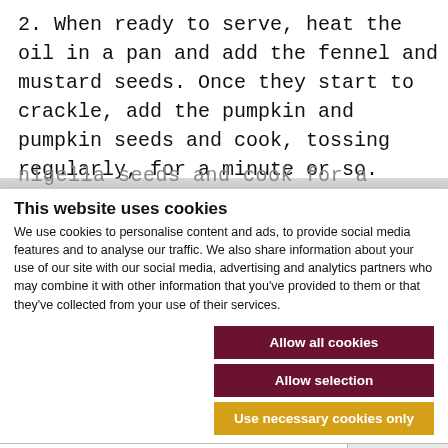2. When ready to serve, heat the oil in a pan and add the fennel and mustard seeds. Once they start to crackle, add the pumpkin and pumpkin seeds and cook, tossing regularly, for a minute or so.
3. Add the degi mirch powder, ginger and nigella seeds and cook for a couple of minutes
This website uses cookies
We use cookies to personalise content and ads, to provide social media features and to analyse our traffic. We also share information about your use of our site with our social media, advertising and analytics partners who may combine it with other information that you've provided to them or that they've collected from your use of their services.
Allow all cookies
Allow selection
Use necessary cookies only
Necessary  Preferences  Statistics  Marketing  Show details